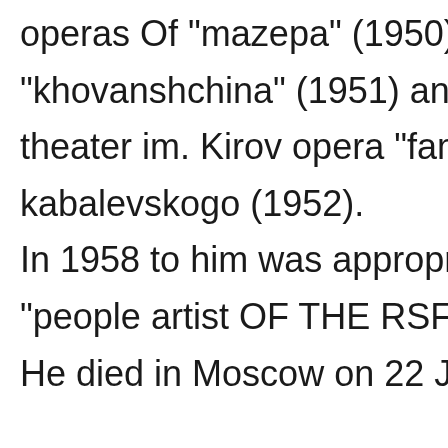operas Of "mazepa" (1950), the "khovanshchina" (1951) and for p theater im. Kirov opera "family of kabalevskogo (1952). In 1958 to him was appropria "people artist OF THE RSFSR". He died in Moscow on 22 July, 19